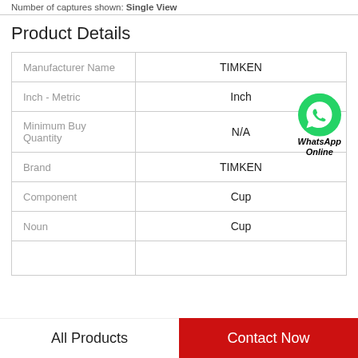Number of captures shown: Single View
Product Details
|  |  |
| --- | --- |
| Manufacturer Name | TIMKEN |
| Inch - Metric | Inch |
| Minimum Buy Quantity | N/A |
| Brand | TIMKEN |
| Component | Cup |
| Noun | Cup |
[Figure (logo): WhatsApp green phone icon with 'WhatsApp Online' text]
All Products
Contact Now